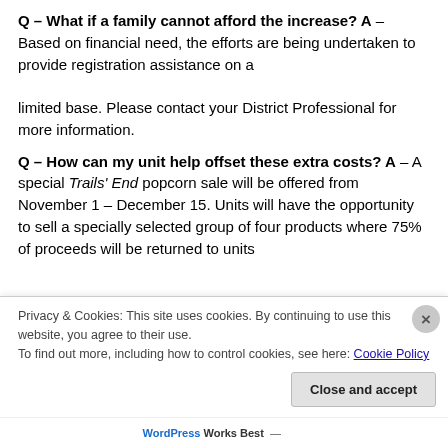Q – What if a family cannot afford the increase? A – Based on financial need, the efforts are being undertaken to provide registration assistance on a limited base. Please contact your District Professional for more information.
Q – How can my unit help offset these extra costs? A – A special Trails' End popcorn sale will be offered from November 1 – December 15. Units will have the opportunity to sell a specially selected group of four products where 75% of proceeds will be returned to units
Privacy & Cookies: This site uses cookies. By continuing to use this website, you agree to their use. To find out more, including how to control cookies, see here: Cookie Policy
Close and accept
WordPress Works Best